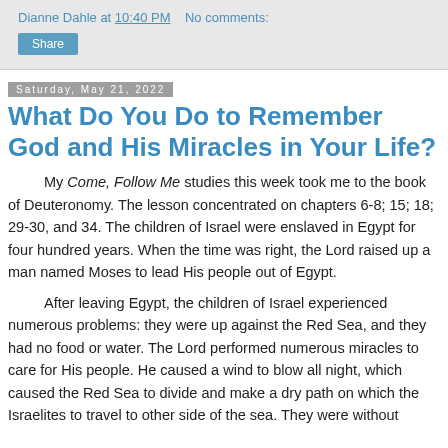Dianne Dahle at 10:40 PM    No comments:
Share
Saturday, May 21, 2022
What Do You Do to Remember God and His Miracles in Your Life?
My Come, Follow Me studies this week took me to the book of Deuteronomy. The lesson concentrated on chapters 6-8; 15; 18; 29-30, and 34. The children of Israel were enslaved in Egypt for four hundred years. When the time was right, the Lord raised up a man named Moses to lead His people out of Egypt.
After leaving Egypt, the children of Israel experienced numerous problems: they were up against the Red Sea, and they had no food or water. The Lord performed numerous miracles to care for His people. He caused a wind to blow all night, which caused the Red Sea to divide and make a dry path on which the Israelites to travel to other side of the sea. They were without